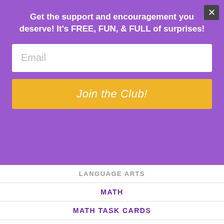Get the support and encouragement you deserve! It's FREE, FUN, & FULL of surprises!
Email
Join the Club!
LANGUAGE ARTS
MATH
MATH TASK CARDS
MATH TEST PREP
MEASUREMENT
MENTAL MATH
NO-PREP PRINTABLES
PLACE VALUE
POSTERS AND ANCHOR CHARTS
READING SKILLS TASK CARDS
READING STRATEGIES